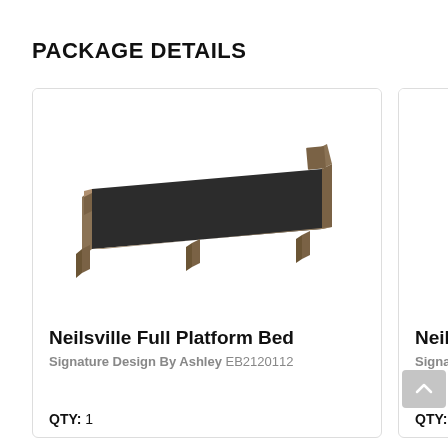PACKAGE DETAILS
[Figure (photo): Neilsville Full Platform Bed — wooden platform bed frame with dark upholstered surface, rustic brown finish, shown in product photo]
Neilsville Full Platform Bed
Signature Design By Ashley EB2120112
QTY: 1
[Figure (photo): Partial view of a second Neilsville product card — shows edge of wooden furniture panel with rustic brown finish]
Neilsv
Signatur
QTY: 1